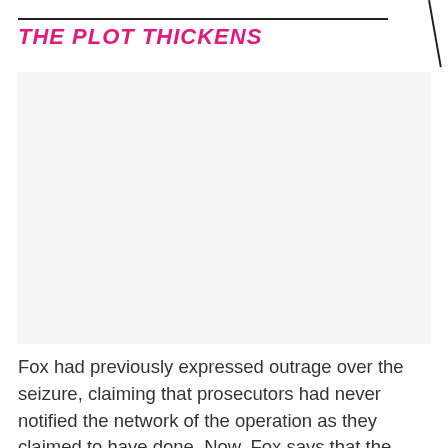THE PLOT THICKENS
[Figure (photo): Image placeholder area (white/light gray box, no image loaded)]
Fox had previously expressed outrage over the seizure, claiming that prosecutors had never notified the network of the operation as they claimed to have done. Now, Fox says that the